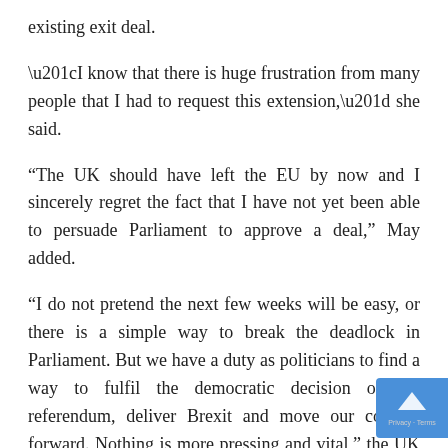existing exit deal.
“I know that there is huge frustration from many people that I had to request this extension,” she said.
“The UK should have left the EU by now and I sincerely regret the fact that I have not yet been able to persuade Parliament to approve a deal,” May added.
“I do not pretend the next few weeks will be easy, or there is a simple way to break the deadlock in Parliament. But we have a duty as politicians to find a way to fulfil the democratic decision of the referendum, deliver Brexit and move our country forward. Nothing is more pressing and vital,” the UK leader elaborated.